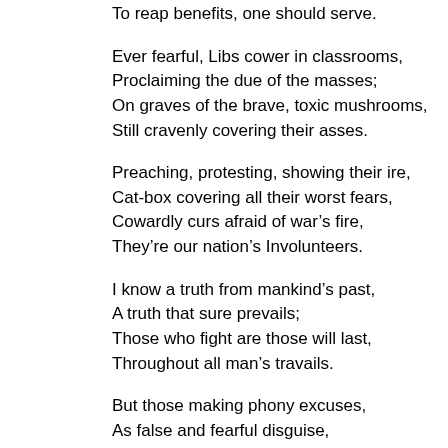To reap benefits, one should serve.
Ever fearful, Libs cower in classrooms,
Proclaiming the due of the masses;
On graves of the brave, toxic mushrooms,
Still cravenly covering their asses.
Preaching, protesting, showing their ire,
Cat-box covering all their worst fears,
Cowardly curs afraid of war’s fire,
They’re our nation’s Involunteers.
I know a truth from mankind’s past,
A truth that sure prevails;
Those who fight are those will last,
Throughout all man’s travails.
But those making phony excuses,
As false and fearful disguise,
Will feel history’s worst abuses,
Enslaved by their cowardly lies.